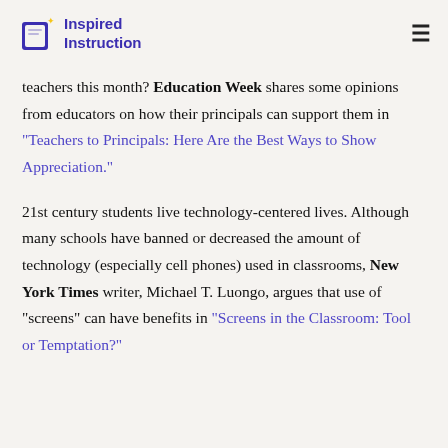Inspired Instruction
teachers this month? Education Week shares some opinions from educators on how their principals can support them in "Teachers to Principals: Here Are the Best Ways to Show Appreciation."
21st century students live technology-centered lives. Although many schools have banned or decreased the amount of technology (especially cell phones) used in classrooms, New York Times writer, Michael T. Luongo, argues that use of "screens" can have benefits in "Screens in the Classroom: Tool or Temptation?"